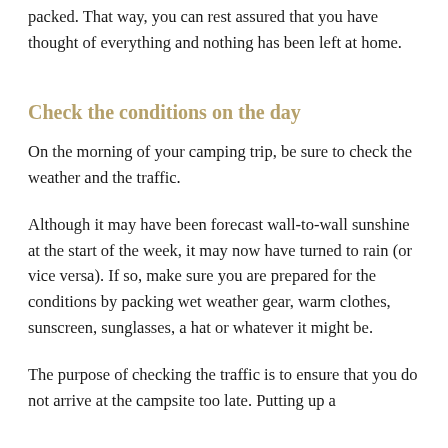packed. That way, you can rest assured that you have thought of everything and nothing has been left at home.
Check the conditions on the day
On the morning of your camping trip, be sure to check the weather and the traffic.
Although it may have been forecast wall-to-wall sunshine at the start of the week, it may now have turned to rain (or vice versa). If so, make sure you are prepared for the conditions by packing wet weather gear, warm clothes, sunscreen, sunglasses, a hat or whatever it might be.
The purpose of checking the traffic is to ensure that you do not arrive at the campsite too late. Putting up a